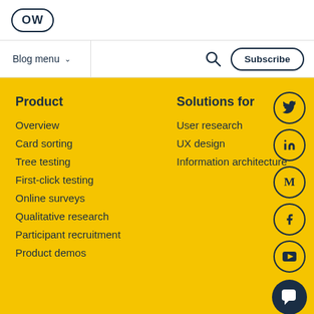OW
Blog menu
Product
Overview
Card sorting
Tree testing
First-click testing
Online surveys
Qualitative research
Participant recruitment
Product demos
Solutions for
User research
UX design
Information architecture